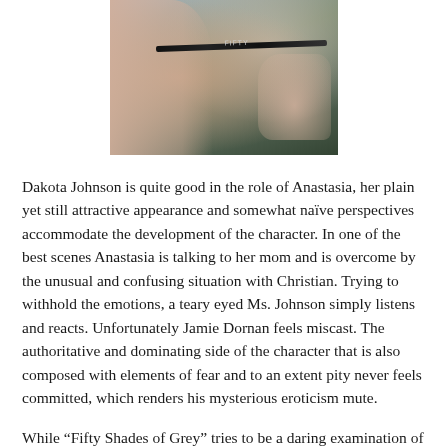[Figure (photo): Close-up photo of a woman holding a pencil near her lips. The pencil appears to have 'FIFTY' written on it. Background is blurred green/grey tones.]
Dakota Johnson is quite good in the role of Anastasia, her plain yet still attractive appearance and somewhat naïve perspectives accommodate the development of the character. In one of the best scenes Anastasia is talking to her mom and is overcome by the unusual and confusing situation with Christian. Trying to withhold the emotions, a teary eyed Ms. Johnson simply listens and reacts. Unfortunately Jamie Dornan feels miscast. The authoritative and dominating side of the character that is also composed with elements of fear and to an extent pity never feels committed, which renders his mysterious eroticism mute.
While “Fifty Shades of Grey” tries to be a daring examination of sex and gender, it’s unfortunately overly formulaic and conventional. It ruminates from a romantic comedy into a place of melodrama and continues this structure after each sexual encounter. Though there are moments when the director and writer attempt to correlate deeper implications into the nature of